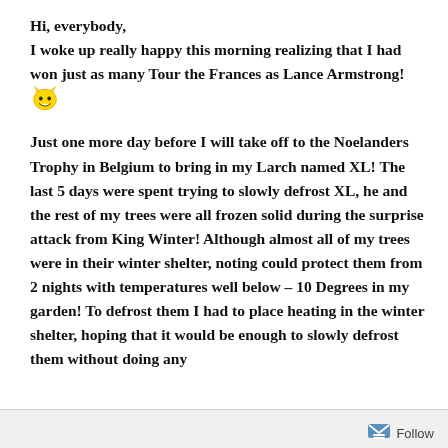Hi, everybody,
I woke up really happy this morning realizing that I had won just as many Tour the Frances as Lance Armstrong! [emoji]

Just one more day before I will take off to the Noelanders Trophy in Belgium to bring in my Larch named XL! The last 5 days were spent trying to slowly defrost XL, he and the rest of my trees were all frozen solid during the surprise attack from King Winter! Although almost all of my trees were in their winter shelter, noting could protect them from 2 nights with temperatures well below – 10 Degrees in my garden! To defrost them I had to place heating in the winter shelter, hoping that it would be enough to slowly defrost them without doing any [cut off]
Follow